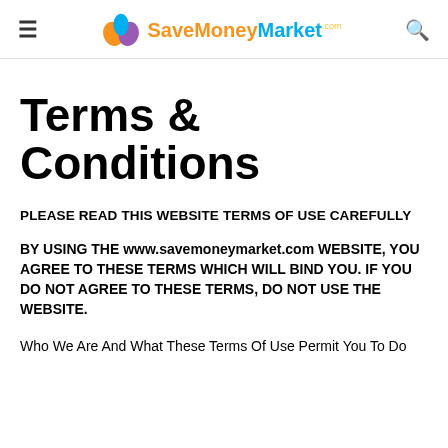SaveMoneyMarket.com
Terms & Conditions
PLEASE READ THIS WEBSITE TERMS OF USE CAREFULLY
BY USING THE www.savemoneymarket.com WEBSITE, YOU AGREE TO THESE TERMS WHICH WILL BIND YOU. IF YOU DO NOT AGREE TO THESE TERMS, DO NOT USE THE WEBSITE.
Who We Are And What These Terms Of Use Permit You To Do